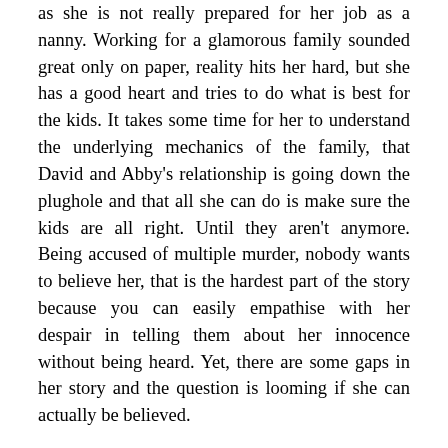as she is not really prepared for her job as a nanny. Working for a glamorous family sounded great only on paper, reality hits her hard, but she has a good heart and tries to do what is best for the kids. It takes some time for her to understand the underlying mechanics of the family, that David and Abby's relationship is going down the plughole and that all she can do is make sure the kids are all right. Until they aren't anymore. Being accused of multiple murder, nobody wants to believe her, that is the hardest part of the story because you can easily empathise with her despair in telling them about her innocence without being heard. Yet, there are some gaps in her story and the question is looming if she can actually be believed.
Rachel on the other hand, is a lot stronger but nevertheless also a prime suspect whom everybody